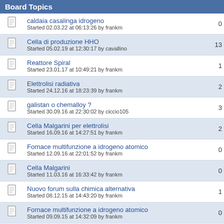Board Topics
caldaia casalinga idrogeno
Started 02.03.22 at 06:13:26 by frankm
Cella di produzione HHO
Started 05.02.19 at 12:30:17 by cavallino
Reattore Spiral
Started 23.01.17 at 10:49:21 by frankm
Elettrolisi radiativa
Started 24.12.16 at 18:23:39 by frankm
galistan o chemalloy ?
Started 30.09.16 at 22:30:02 by ciccio105
Cella Malgarini per elettrolisi
Started 16.09.16 at 14:27:51 by frankm
Fornace multifunzione a idrogeno atomico
Started 12.09.16 at 22:01:52 by frankm
Cella Malgarini
Started 11.03.16 at 16:33:42 by frankm
Nuovo forum sulla chimica alternativa
Started 08.12.15 at 14:43:20 by frankm
Fornace multifunzione a idrogeno atomico
Started 09.09.15 at 14:32:09 by frankm
idrogeno e deuterio ultra densi
Started 09.10.15 at 10:15:42 by frankm
Moltiplicazione dell' idrogeno
Started 23.10.18 at 13:36:22 by frankm
Trireattore
Started 20.01.17 at 15:58:45 by frankm
Reattore a idrogeno atomico da 1 MW
Started 11.03.18 at 18:03:56 by frankm